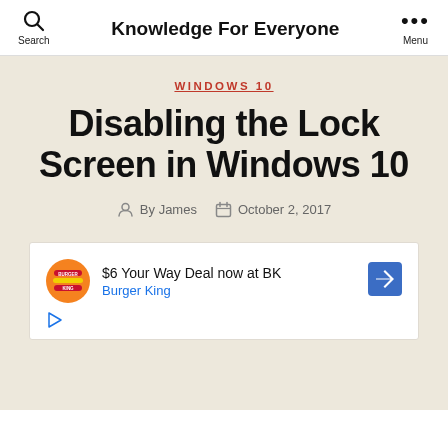Knowledge For Everyone
WINDOWS 10
Disabling the Lock Screen in Windows 10
By James  October 2, 2017
[Figure (other): Advertisement: $6 Your Way Deal now at BK - Burger King]